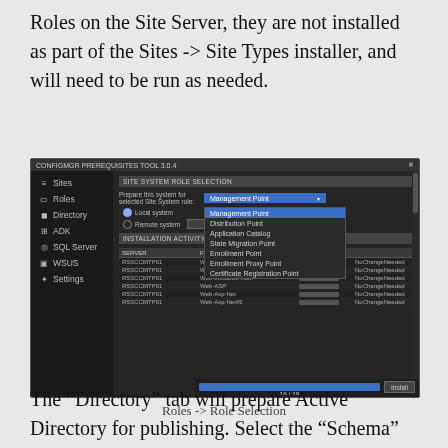Roles on the Site Server, they are not installed as part of the Sites -> Site Types installer, and will need to be run as needed.
[Figure (screenshot): Screenshot of CONFIGMGR PREREQUISITES TOOL 3.0.4 showing Site System Role Selection with a dropdown menu open listing: Management Point, Distribution Point, Application Catalog, State Migration Point, Enrollment Point, Enrollment Proxy Point, Certificate Registration Point. Left sidebar shows: Sites, Roles, Directory, ADK, SQL Server, WSUS, Settings. Installation Activity table shows SERVER=RSSCCMTP01 rows with features: Web-WMI, Web-Metabase, Web-Windows-Auth, Web-ASP, Web-Asp-Net, Web-Asp-Net45, all with NoChangeNeeded status. Bottom bar shows 16/18 progress.]
Roles -> Role Selection
The “Directory” tab will prepare Active Directory for publishing. Select the “Schema”